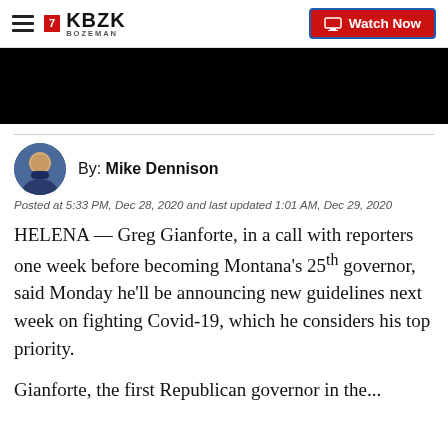KBZK Bozeman | Watch Now
[Figure (screenshot): Black video thumbnail area]
By: Mike Dennison
Posted at 5:33 PM, Dec 28, 2020 and last updated 1:01 AM, Dec 29, 2020
HELENA — Greg Gianforte, in a call with reporters one week before becoming Montana's 25th governor, said Monday he'll be announcing new guidelines next week on fighting Covid-19, which he considers his top priority.
Gianforte, the first Republican governor in the...